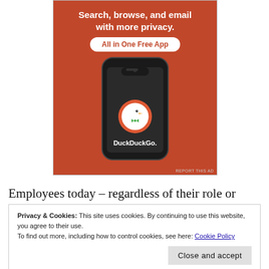[Figure (illustration): DuckDuckGo advertisement banner showing an orange background with white bold text 'Search, browse, and email with more privacy.' and a white pill/badge saying 'All in One Free App', with a smartphone mockup showing the DuckDuckGo app icon and name below.]
Employees today – regardless of their role or generation want to be heard and valued, and they want an
Privacy & Cookies: This site uses cookies. By continuing to use this website, you agree to their use.
To find out more, including how to control cookies, see here: Cookie Policy
Close and accept
experience is lacking at the onset of their new job, the